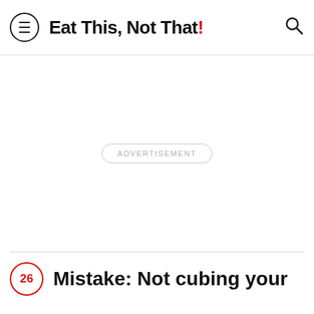Eat This, Not That!
[Figure (other): Advertisement placeholder area with 'ADVERTISEMENT' label in a rounded rectangle border]
Mistake: Not cubing your